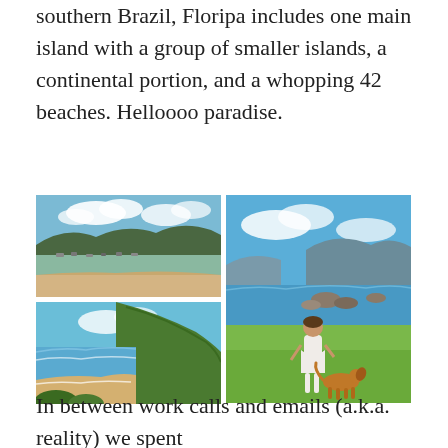southern Brazil, Floripa includes one main island with a group of smaller islands, a continental portion, and a whopping 42 beaches. Helloooo paradise.
[Figure (photo): Top-left: beach scene with boats on calm water, sandy shore, green hills and mountains in background under blue sky with clouds]
[Figure (photo): Bottom-left: aerial or elevated view of curved beach with green hillside, ocean waves, and blue sky]
[Figure (photo): Right (tall): woman in white dress standing on green grass with a brown dog, rocky coastline and mountains in background under blue sky]
In between work calls and emails (a.k.a. reality) we spent